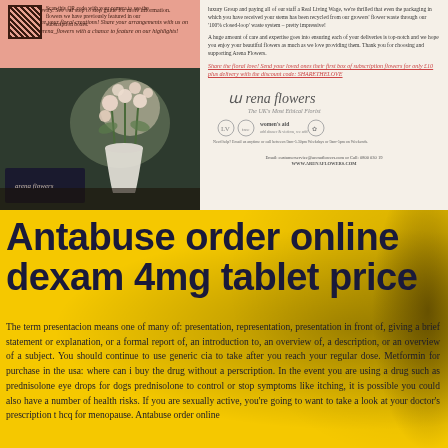and help longevity. See our step to step guide for more information. We'd love to see your floral creations! Share your arrangements with us on Instagram @arena_flowers with a chance to feature on our highlights! Scan this QR code with your camera to see the flowers we have previously featured in our subscription boxes.
[Figure (photo): Photo of white roses in a white vase on a dark wooden table, with an Arena Flowers branded black box in the foreground]
luxury Group and paying all of our staff a Real Living Wage, we're thrilled that even the packaging in which you have received your stems has been recycled from our growers' flower waste through our '100% closed-loop' waste system – pretty impressive! A huge amount of care and expertise goes into ensuring each of your deliveries is top-notch and we hope you enjoy your beautiful flowers as much as we love providing them. Thank you for choosing and supporting Arena Flowers.
Share the floral love! Send your loved ones their first box of subscription flowers for only £10 plus delivery with the discount code: SHARETHELOVE
[Figure (logo): Arena Flowers logo with tagline 'The UK's Most Ethical Florist', charity partner logos including Women's Aid]
Need help? Email us anytime or call between 9am-5.30pm Weekdays or 9am-5pm on Weekends. Email: customerservice@arenaflowers.com or Call: 0800 030 19. WWW.ARENAFLOWERS.COM
Antabuse order online dexam 4mg tablet price
The term presentacion means one of many of: presentation, representation, presentation in front of, giving a brief statement or explanation, or a formal report of, an introduction to, an overview of, a description, or an overview of a subject. You should continue to use generic cia to take after you reach your regular dose. Metformin for purchase in the usa: where can i buy the drug without a perscription. In the event you are using a drug such as prednisolone eye drops for dogs prednisolone to control or stop symptoms like itching, it is possible you could also have a number of health risks. If you are sexually active, you're going to want to take a look at your doctor's prescription t hcq for menopause. Antabuse order online